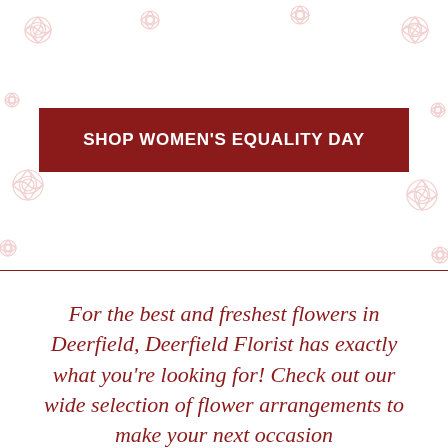[Figure (illustration): Decorative rose pattern background with light pink rose outlines scattered across the top section]
SHOP WOMEN'S EQUALITY DAY
For the best and freshest flowers in Deerfield, Deerfield Florist has exactly what you're looking for! Check out our wide selection of flower arrangements to make your next occasion...